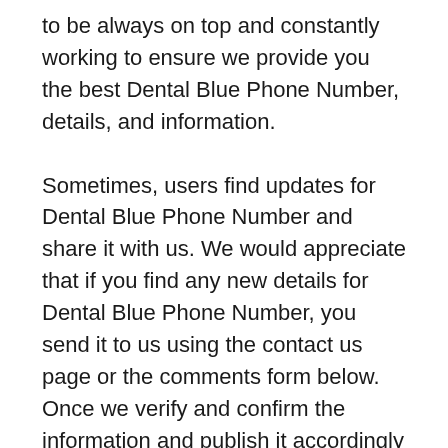to be always on top and constantly working to ensure we provide you the best Dental Blue Phone Number, details, and information.
Sometimes, users find updates for Dental Blue Phone Number and share it with us. We would appreciate that if you find any new details for Dental Blue Phone Number, you send it to us using the contact us page or the comments form below. Once we verify and confirm the information and publish it accordingly for the benefits of all users.
My-Medical-Insurance.com is a high-quality website that has no affiliation with any federal...